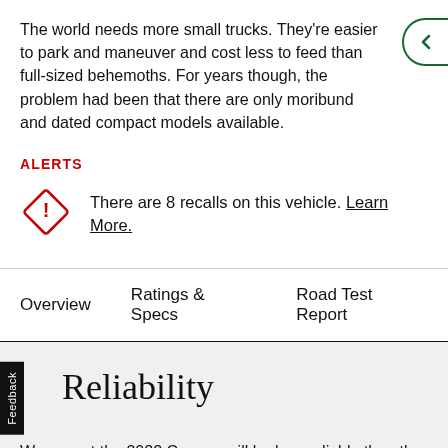The world needs more small trucks. They're easier to park and maneuver and cost less to feed than full-sized behemoths. For years though, the problem had been that there are only moribund and dated compact models available.
ALERTS
There are 8 recalls on this vehicle. Learn More.
Overview   Ratings & Specs   Road Test Report
Reliability
We expect the 2022 Canyon will be less reliable than the This prediction is based on data from